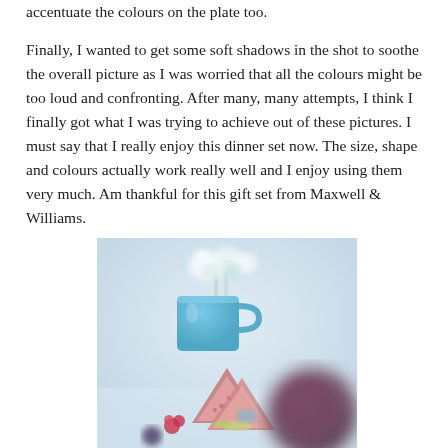accentuate the colours on the plate too.
Finally, I wanted to get some soft shadows in the shot to soothe the overall picture as I was worried that all the colours might be too loud and confronting. After many, many attempts, I think I finally got what I was trying to achieve out of these pictures. I must say that I really enjoy this dinner set now. The size, shape and colours actually work really well and I enjoy using them very much. Am thankful for this gift set from Maxwell & Williams.
[Figure (photo): A food photography shot showing sliced figs and berries on a plate in the foreground, with a blue mug containing white flowers in the background, set against a soft blue-grey background with bokeh effect.]